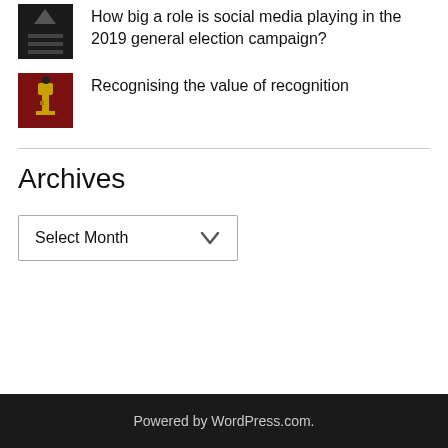How big a role is social media playing in the 2019 general election campaign?
Recognising the value of recognition
Archives
[Figure (screenshot): Dropdown select box showing 'Select Month' with a chevron arrow]
Powered by WordPress.com.